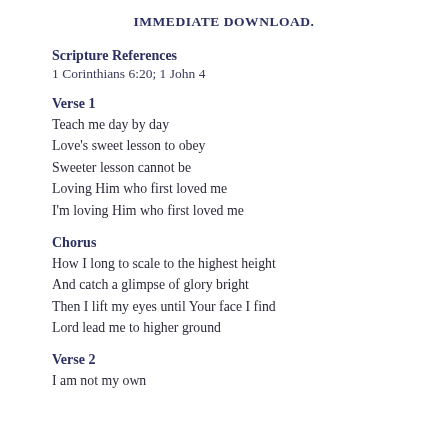IMMEDIATE DOWNLOAD.
Scripture References
1 Corinthians 6:20; 1 John 4
Verse 1
Teach me day by day
Love's sweet lesson to obey
Sweeter lesson cannot be
Loving Him who first loved me
I'm loving Him who first loved me
Chorus
How I long to scale to the highest height
And catch a glimpse of glory bright
Then I lift my eyes until Your face I find
Lord lead me to higher ground
Verse 2
I am not my own